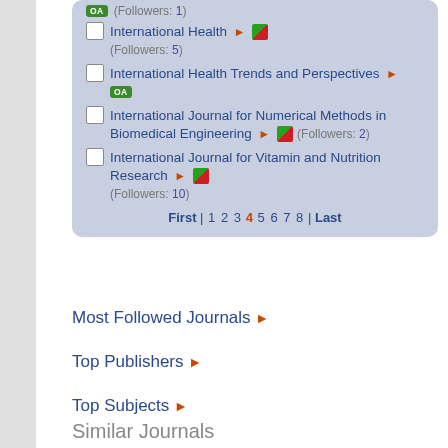OA (Followers: 1)
International Health ► [icon] (Followers: 5)
International Health Trends and Perspectives ► OA
International Journal for Numerical Methods in Biomedical Engineering ► [icon] (Followers: 2)
International Journal for Vitamin and Nutrition Research ► [icon] (Followers: 10)
First | 1 2 3 4 5 6 7 8 | Last
Most Followed Journals ►
Top Publishers ►
Top Subjects ►
Similar Journals